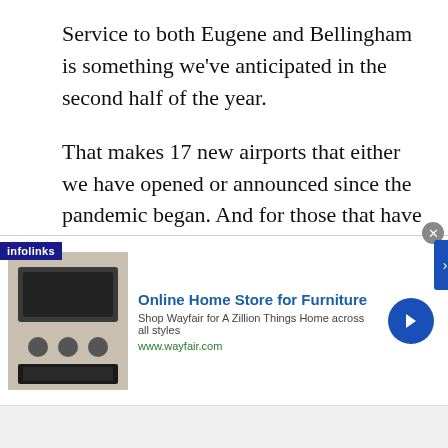Service to both Eugene and Bellingham is something we've anticipated in the second half of the year.
That makes 17 new airports that either we have opened or announced since the pandemic began. And for those that have commenced service, they're performing very well. In fact, we just shared with the airports serving Steamboat Springs and Telluride that we're extending our service beyond the winter season to continue serving both through the summer of 2021.
[Figure (other): Infolinks branded advertisement banner for Wayfair Online Home Store for Furniture with product image of appliances, ad title, description, URL, and navigation arrow button.]